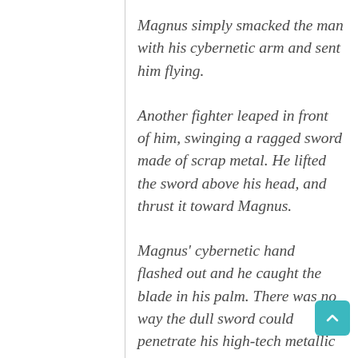Magnus simply smacked the man with his cybernetic arm and sent him flying.
Another fighter leaped in front of him, swinging a ragged sword made of scrap metal. He lifted the sword above his head, and thrust it toward Magnus.
Magnus' cybernetic hand flashed out and he caught the blade in his palm. There was no way the dull sword could penetrate his high-tech metallic skin. As comprehension dawned, the fighter's eyes opened in shock